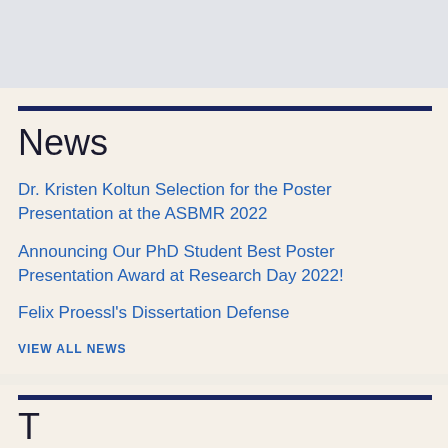News
Dr. Kristen Koltun Selection for the Poster Presentation at the ASBMR 2022
Announcing Our PhD Student Best Poster Presentation Award at Research Day 2022!
Felix Proessl's Dissertation Defense
VIEW ALL NEWS